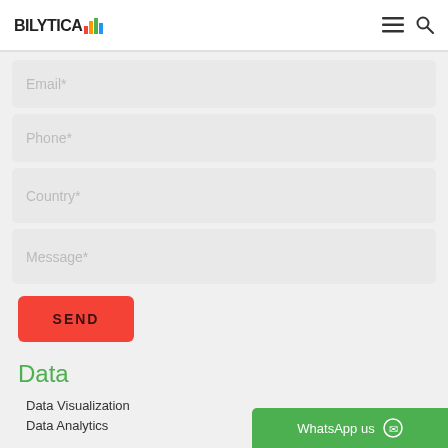BILYTICA [logo with bar chart icons]
Email*
Phone*
Country*
Message*
SEND
Data
Data Visualization
Data Analytics
WhatsApp us